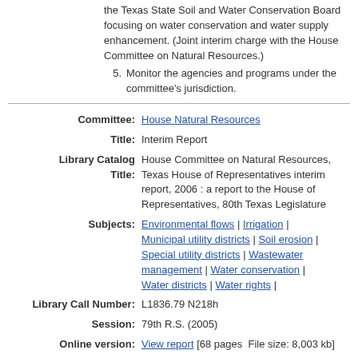the Texas State Soil and Water Conservation Board focusing on water conservation and water supply enhancement. (Joint interim charge with the House Committee on Natural Resources.)
5. Monitor the agencies and programs under the committee's jurisdiction.
| Label | Value |
| --- | --- |
| Committee: | House Natural Resources |
| Title: | Interim Report |
| Library Catalog Title: | House Committee on Natural Resources, Texas House of Representatives interim report, 2006 : a report to the House of Representatives, 80th Texas Legislature |
| Subjects: | Environmental flows | Irrigation | Municipal utility districts | Soil erosion | Special utility districts | Wastewater management | Water conservation | Water districts | Water rights | |
| Library Call Number: | L1836.79 N218h |
| Session: | 79th R.S. (2005) |
| Online version: | View report [68 pages  File size: 8,003 kb] |
| Charges: | This report should address the charges |